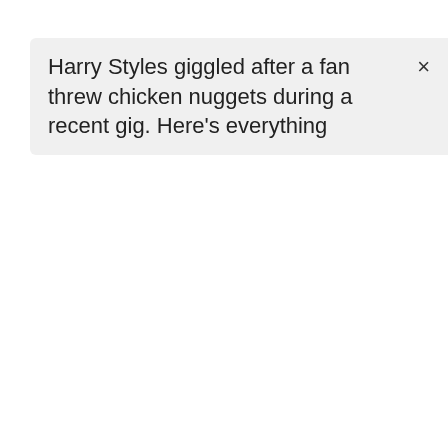Harry Styles giggled after a fan threw chicken nuggets during a recent gig. Here's everything